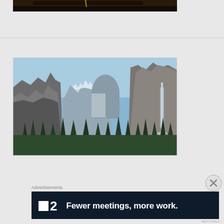[Figure (photo): Partial top of a dark interior scene, cropped at top of page]
[Figure (photo): Yosemite Valley tunnel view showing El Capitan on left, Half Dome in center background, Bridalveil Fall on right, with blue sky and forested valley floor]
[Figure (other): Close/X dismiss button circle with X mark]
Advertisements
[Figure (other): Advertisement banner: dark navy background with white square icon logo, number 2, and text 'Fewer meetings, more work.']